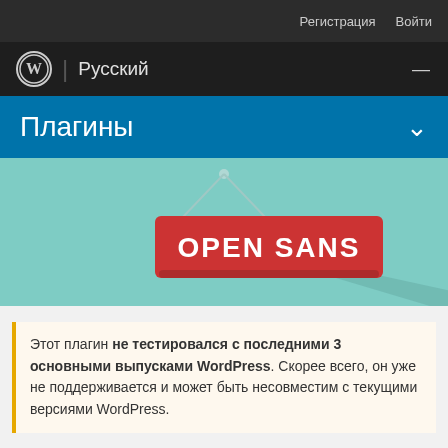Регистрация  Войти
WordPress | Русский
Плагины
[Figure (illustration): A flat-design illustration on a teal/mint background showing a hanging sign with red background and white bold text 'OPEN SANS', suspended by two strings from a central attachment point, with a diagonal shadow beneath the sign.]
Этот плагин не тестировался с последними 3 основными выпусками WordPress. Скорее всего, он уже не поддерживается и может быть несовместим с текущими версиями WordPress.